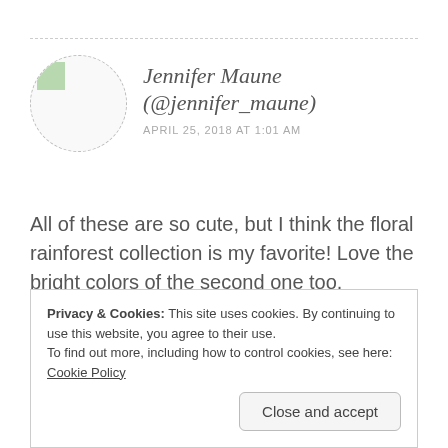Jennifer Maune (@jennifer_maune) APRIL 25, 2018 AT 1:01 AM
All of these are so cute, but I think the floral rainforest collection is my favorite! Love the bright colors of the second one too.
-Jennifer
Privacy & Cookies: This site uses cookies. By continuing to use this website, you agree to their use.
To find out more, including how to control cookies, see here: Cookie Policy